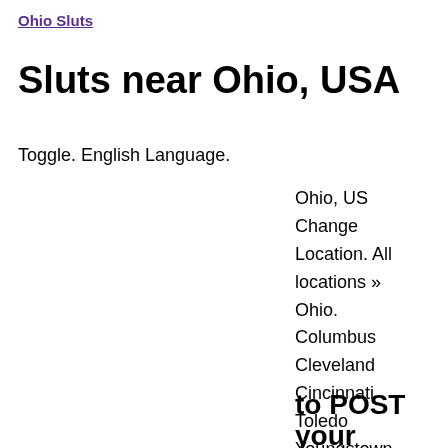Ohio Sluts
Sluts near Ohio, USA
Toggle. English Language.
Ohio, US Change Location. All locations » Ohio. Columbus Cleveland Cincinnati Toledo Youngstown.
to POST your